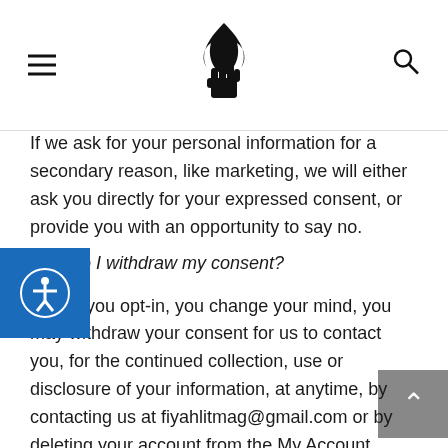[Navigation header with hamburger menu, flame/fist logo, and search icon]
If we ask for your personal information for a secondary reason, like marketing, we will either ask you directly for your expressed consent, or provide you with an opportunity to say no.
How do I withdraw my consent?
If after you opt-in, you change your mind, you may withdraw your consent for us to contact you, for the continued collection, use or disclosure of your information, at anytime, by contacting us at fiyahlitmag@gmail.com or by deleting your account from the My Account page.
What rights you have over your data